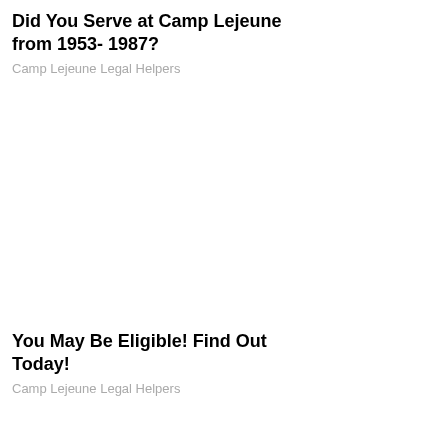Did You Serve at Camp Lejeune from 1953- 1987?
Camp Lejeune Legal Helpers
You May Be Eligible! Find Out Today!
Camp Lejeune Legal Helpers